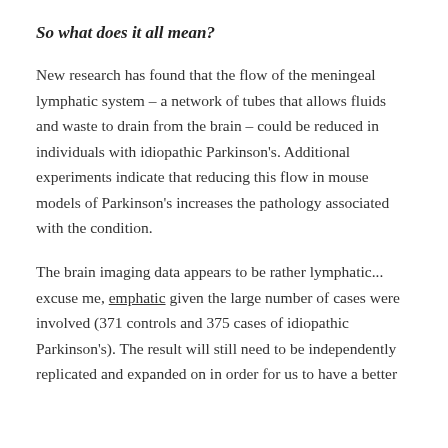So what does it all mean?
New research has found that the flow of the meningeal lymphatic system – a network of tubes that allows fluids and waste to drain from the brain – could be reduced in individuals with idiopathic Parkinson's. Additional experiments indicate that reducing this flow in mouse models of Parkinson's increases the pathology associated with the condition.
The brain imaging data appears to be rather lymphatic... excuse me, emphatic given the large number of cases were involved (371 controls and 375 cases of idiopathic Parkinson's). The result will still need to be independently replicated and expanded on in order for us to have a better